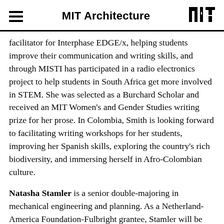MIT Architecture
facilitator for Interphase EDGE/x, helping students improve their communication and writing skills, and through MISTI has participated in a radio electronics project to help students in South Africa get more involved in STEM. She was selected as a Burchard Scholar and received an MIT Women's and Gender Studies writing prize for her prose. In Colombia, Smith is looking forward to facilitating writing workshops for her students, improving her Spanish skills, exploring the country's rich biodiversity, and immersing herself in Afro-Colombian culture.
Natasha Stamler is a senior double-majoring in mechanical engineering and planning. As a Netherland-America Foundation-Fulbright grantee, Stamler will be analyzing the energy-efficient Atlas building at TU Eindhoven. Stamler's research at MIT has focused on